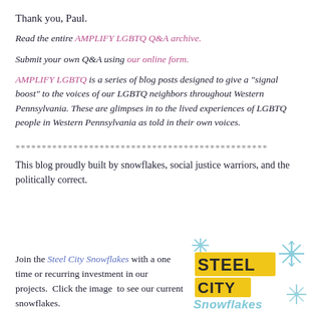Thank you, Paul.
Read the entire AMPLIFY LGBTQ Q&A archive.
Submit your own Q&A using our online form.
AMPLIFY LGBTQ is a series of blog posts designed to give a "signal boost" to the voices of our LGBTQ neighbors throughout Western Pennsylvania. These are glimpses in to the lived experiences of LGBTQ people in Western Pennsylvania as told in their own voices.
************************************************
This blog proudly built by snowflakes, social justice warriors, and the politically correct.
Join the Steel City Snowflakes with a one time or recurring investment in our projects.  Click the image  to see our current snowflakes.
[Figure (logo): Steel City Snowflakes logo with yellow block letters and blue snowflake decorations]